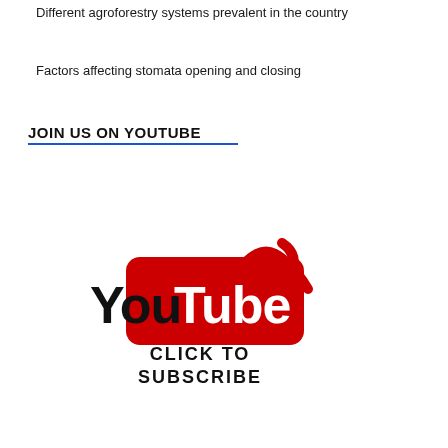Different agroforestry systems prevalent in the country
Factors affecting stomata opening and closing
JOIN US ON YOUTUBE
[Figure (logo): YouTube logo with 'You' in black bold text and 'Tube' in white text on a red rounded rectangle, with red wifi/signal arcs above, and 'CLICK TO SUBSCRIBE' text below in bold black on a white sticker background.]